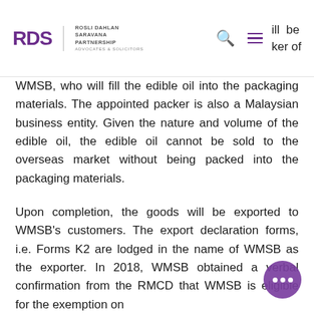RDS Rosli Dahlan Saravana Partnership Advocates & Solicitors
WMSB, who will fill the edible oil into the packaging materials. The appointed packer is also a Malaysian business entity. Given the nature and volume of the edible oil, the edible oil cannot be sold to the overseas market without being packed into the packaging materials.
Upon completion, the goods will be exported to WMSB's customers. The export declaration forms, i.e. Forms K2 are lodged in the name of WMSB as the exporter. In 2018, WMSB obtained a verbal confirmation from the RMCD that WMSB is eligible for the exemption on